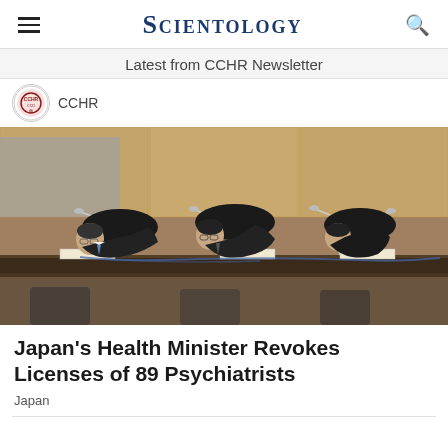SCIENTOLOGY
Latest from CCHR Newsletter
CCHR
[Figure (photo): Three men in dark suits bowing deeply at a press conference table with microphones, in a formal room with wooden paneling.]
Japan's Health Minister Revokes Licenses of 89 Psychiatrists
Japan